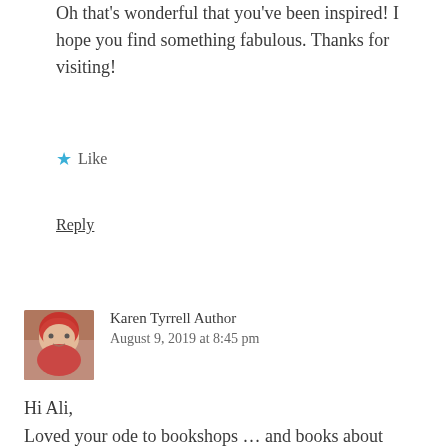Oh that's wonderful that you've been inspired! I hope you find something fabulous. Thanks for visiting!
★ Like
Reply
Karen Tyrrell Author
August 9, 2019 at 8:45 pm
Hi Ali,
Loved your ode to bookshops … and books about bookshops.
Particularly enjoyed reading your verse,
Bookshop Magic.